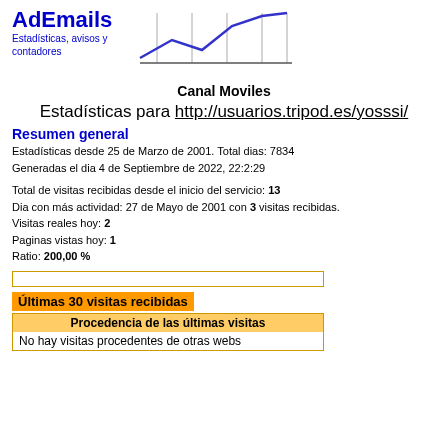[Figure (logo): AdEmails logo with blue bold text and tagline 'Estadísticas, avisos y contadores']
[Figure (line-chart): Small line chart showing upward trend, blue line on white background with vertical grid lines]
Canal Moviles
Estadísticas para http://usuarios.tripod.es/yosssi/
Resumen general
Estadísticas desde 25 de Marzo de 2001. Total dias: 7834
Generadas el dia 4 de Septiembre de 2022, 22:2:29
Total de visitas recibidas desde el inicio del servicio: 13
Dia con más actividad: 27 de Mayo de 2001 con 3 visitas recibidas.
Visitas reales hoy: 2
Paginas vistas hoy: 1
Ratio: 200,00 %
Últimas 30 visitas recibidas
Procedencia de las últimas visitas
No hay visitas procedentes de otras webs